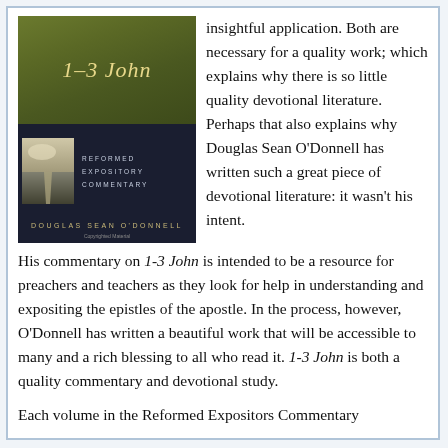[Figure (illustration): Book cover of '1-3 John' Reformed Expository Commentary by Douglas Sean O'Donnell. Olive/green top half with italic title text, dark navy bottom half with small road/landscape image and series title text.]
insightful application. Both are necessary for a quality work; which explains why there is so little quality devotional literature. Perhaps that also explains why Douglas Sean O'Donnell has written such a great piece of devotional literature: it wasn't his intent. His commentary on 1-3 John is intended to be a resource for preachers and teachers as they look for help in understanding and expositing the epistles of the apostle. In the process, however, O'Donnell has written a beautiful work that will be accessible to many and a rich blessing to all who read it. 1-3 John is both a quality commentary and devotional study.
Each volume in the Reformed Expositors Commentary